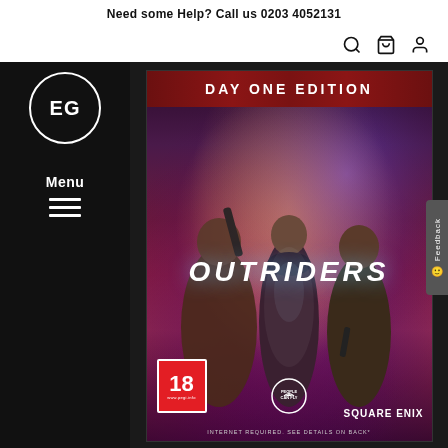Need some Help? Call us 0203 4052131
[Figure (logo): EG logo circle in white on dark sidebar]
Menu
[Figure (screenshot): Outriders Day One Edition game cover showing three characters, PEGI 18, People Can Fly and Square Enix logos, with text: DAY ONE EDITION, OUTRIDERS, INTERNET REQUIRED. SEE DETAILS ON BACK*]
Feedback